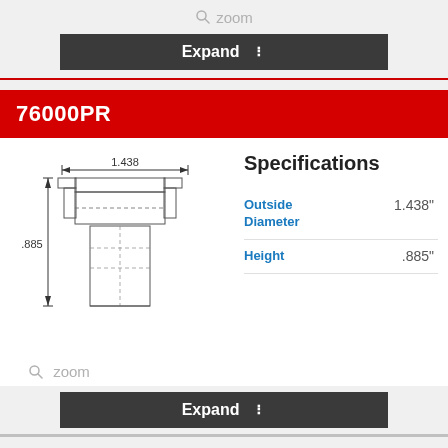zoom
Expand
76000PR
[Figure (engineering-diagram): Technical drawing of a cylindrical bearing/bushing part (76000PR) with dimension annotations: 1.438 inch outside diameter (horizontal arrow at top) and .885 inch height (vertical arrow on left side). The component shows a cross-sectional profile with flanged top and cylindrical lower portion, with dashed center lines.]
Specifications
| Specification | Value |
| --- | --- |
| Outside Diameter | 1.438" |
| Height | .885" |
zoom
Expand